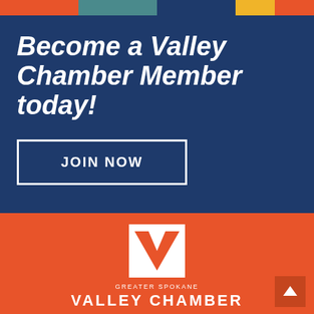[Figure (infographic): Color bar with orange, teal, dark blue, yellow, and orange segments]
Become a Valley Chamber Member today!
JOIN NOW
[Figure (logo): Greater Spokane Valley Chamber logo — white square with orange V checkmark, text 'GREATER SPOKANE' and 'VALLEY CHAMBER' in white on orange background]